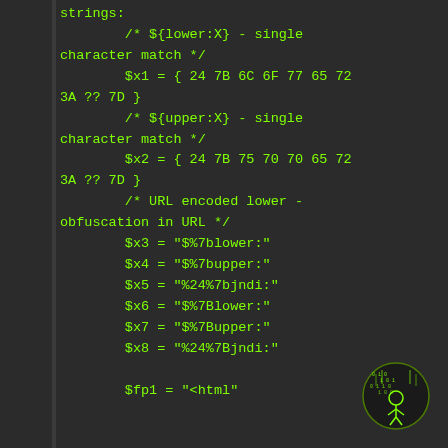strings:
        /* ${lower:X} - single character match */
        $x1 = { 24 7B 6C 6F 77 65 72 3A ?? 7D }
        /* ${upper:X} - single character match */
        $x2 = { 24 7B 75 70 70 65 72 3A ?? 7D }
        /* URL encoded lower - obfuscation in URL */
        $x3 = "$%7blower:"
        $x4 = "$%7bupper:"
        $x5 = "%24%7bjndi:"
        $x6 = "$%7Blower:"
        $x7 = "$%7Bupper:"
        $x8 = "%24%7Bjndi:"

        $fp1 = "<html"
[Figure (logo): Circular logo with green matrix/binary digits and a figure silhouette, on dark background]